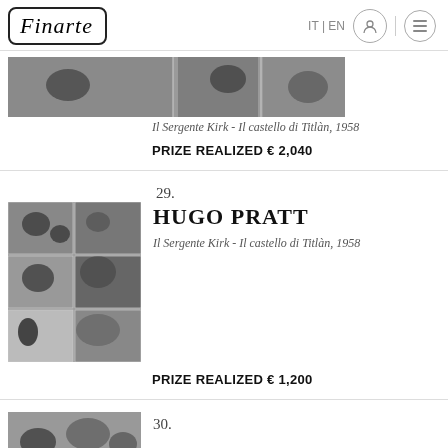Finarte | IT | EN
[Figure (photo): Black and white comic strip panels from Il Sergente Kirk - Il castello di Titlàn, 1958]
Il Sergente Kirk - Il castello di Titlàn, 1958
PRIZE REALIZED € 2,040
29.
HUGO PRATT
Il Sergente Kirk - Il castello di Titlàn, 1958
[Figure (photo): Black and white comic strip panels from Il Sergente Kirk - Il castello di Titlàn, 1958]
PRIZE REALIZED € 1,200
30.